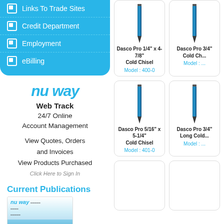Links To Trade Sites
Credit Department
Employment
eBilling
[Figure (logo): nu way logo in italic blue text]
Web Track
24/7 Online Account Management
View Quotes, Orders and Invoices
View Products Purchased
Click Here to Sign In
Current Publications
[Figure (photo): nu way publication cover with outdoor paving scene]
[Figure (photo): Dasco Pro 1/4 inch x 4-7/8 inch Cold Chisel product image]
Dasco Pro 1/4" x 4-7/8"
Cold Chisel
Model : 400-0
[Figure (photo): Dasco Pro 3/4 inch Cold Chisel product image (partially visible)]
Dasco Pro 3/4"
Cold Ch...
Model : ...
[Figure (photo): Dasco Pro 5/16 inch x 5-1/4 inch Cold Chisel product image]
Dasco Pro 5/16" x 5-1/4"
Cold Chisel
Model : 401-0
[Figure (photo): Dasco Pro 3/4 inch Long Cold Chisel product image (partially visible)]
Dasco Pro 3"
Long Cold...
Model : ...